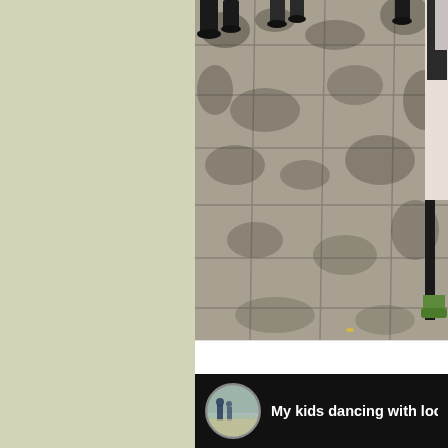[Figure (photo): Outdoor scene showing a stone tile pavement/plaza with tree shadows cast across it. Visible at the top are people's legs and feet. On the right edge is a child or person standing. The pavement has a grid of large square stone tiles with dappled tree shadows creating dark patterns.]
My kids dancing with locals at Labor P